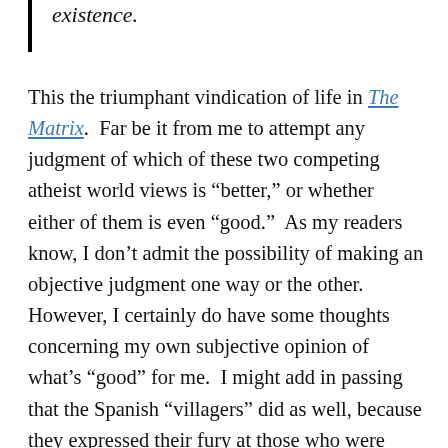existence.
This the triumphant vindication of life in The Matrix.  Far be it from me to attempt any judgment of which of these two competing atheist world views is “better,” or whether either of them is even “good.”  As my readers know, I don’t admit the possibility of making an objective judgment one way or the other.  However, I certainly do have some thoughts concerning my own subjective opinion of what’s “good” for me.  I might add in passing that the Spanish “villagers” did as well, because they expressed their fury at those who were “enlightening” them by destroying churches in Barcelona and other parts of Spain